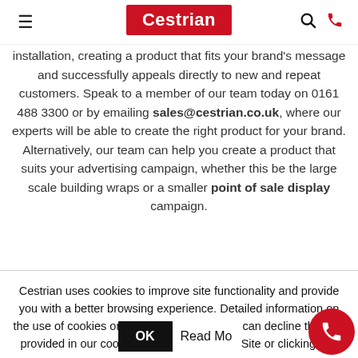Cestrian [logo] — hamburger menu, search icon, phone icon
installation, creating a product that fits your brand's message and successfully appeals directly to new and repeat customers. Speak to a member of our team today on 0161 488 3300 or by emailing sales@cestrian.co.uk, where our experts will be able to create the right product for your brand. Alternatively, our team can help you create a product that suits your advertising campaign, whether this be the large scale building wraps or a smaller point of sale display campaign.
Cestrian uses cookies to improve site functionality and provide you with a better browsing experience. Detailed information on the use of cookies on this Site, and how you can decline them, is provided in our cookie policy. By using this Site or clicking "OK", you consent to the use of cookies.
OK   Read More